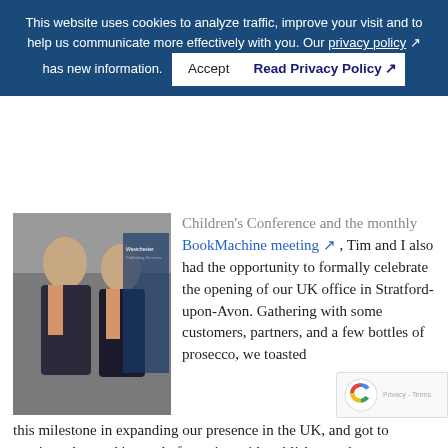This website uses cookies to analyze traffic, improve your visit and to help us communicate more effectively with you. Our privacy policy ↗ has new information. [Accept] [Read Privacy Policy ↗]
[Figure (photo): Two men in suits standing in front of a Westchester Publishing Services banner at an event]
Children's Conference and the monthly BookMachine meeting ↗ , Tim and I also had the opportunity to formally celebrate the opening of our UK office in Stratford-upon-Avon. Gathering with some customers, partners, and a few bottles of prosecco, we toasted this milestone in expanding our presence in the UK, and got to continue the week's trend of meeting with publishers to better understand their particular take on the publishing landscape.
While I was in England, I also attended two events with the Stationers' Company ↗ — the UK-based publishing guild